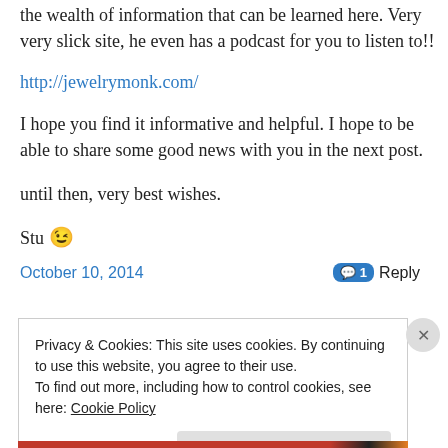the wealth of information that can be learned here. Very very slick site, he even has a podcast for you to listen to!!
http://jewelrymonk.com/
I hope you find it informative and helpful. I hope to be able to share some good news with you in the next post.
until then, very best wishes.
Stu 😉
October 10, 2014   💬 1 Reply
Privacy & Cookies: This site uses cookies. By continuing to use this website, you agree to their use.
To find out more, including how to control cookies, see here: Cookie Policy
Close and accept